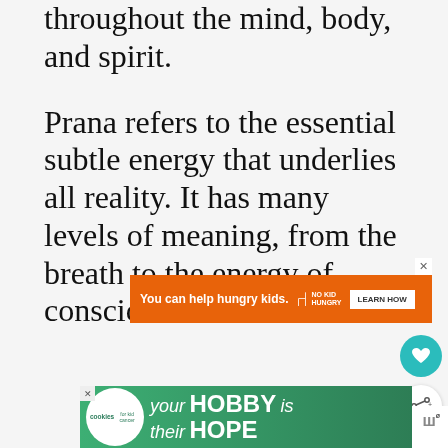throughout the mind, body, and spirit.
Prana refers to the essential subtle energy that underlies all reality. It has many levels of meaning, from the breath to the energy of consciousness itself.
[Figure (screenshot): Orange advertisement banner: 'You can help hungry kids.' with No Kid Hungry logo and LEARN HOW button]
[Figure (screenshot): Teal circular heart/favorite button]
[Figure (screenshot): White circular share button]
[Figure (screenshot): What's Next panel showing 'Jaya Shiva Shankara -...' with thumbnail]
[Figure (screenshot): Green advertisement banner: 'your HOBBY is their HOPE' with cookies for kid cancer logo]